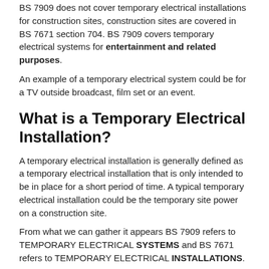BS 7909 does not cover temporary electrical installations for construction sites, construction sites are covered in BS 7671 section 704. BS 7909 covers temporary electrical systems for entertainment and related purposes.
An example of a temporary electrical system could be for a TV outside broadcast, film set or an event.
What is a Temporary Electrical Installation?
A temporary electrical installation is generally defined as a temporary electrical installation that is only intended to be in place for a short period of time. A typical temporary electrical installation could be the temporary site power on a construction site.
From what we can gather it appears BS 7909 refers to TEMPORARY ELECTRICAL SYSTEMS and BS 7671 refers to TEMPORARY ELECTRICAL INSTALLATIONS.